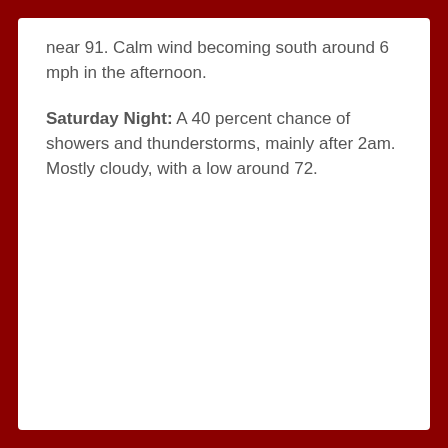near 91. Calm wind becoming south around 6 mph in the afternoon.
Saturday Night: A 40 percent chance of showers and thunderstorms, mainly after 2am. Mostly cloudy, with a low around 72.